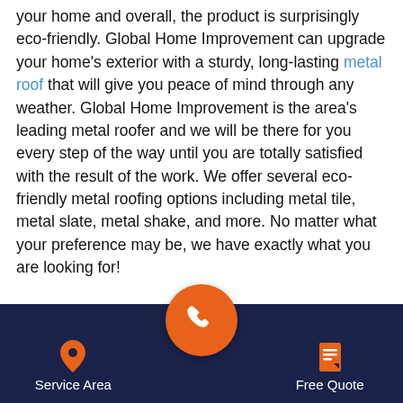your home and overall, the product is surprisingly eco-friendly. Global Home Improvement can upgrade your home's exterior with a sturdy, long-lasting metal roof that will give you peace of mind through any weather. Global Home Improvement is the area's leading metal roofer and we will be there for you every step of the way until you are totally satisfied with the result of the work. We offer several eco-friendly metal roofing options including metal tile, metal slate, metal shake, and more. No matter what your preference may be, we have exactly what you are looking for!

We are also experts in several other types of roofing ranging from asphalt shingles to metal roofing. If it's time for a roof replacement or a brand new roof installation in Woodstown, we are the roofer you can depend on to
[Figure (other): Mobile app navigation bar with dark navy background containing a location pin icon labeled 'Service Area', a large orange circular phone/call button in the center, and a document icon labeled 'Free Quote']